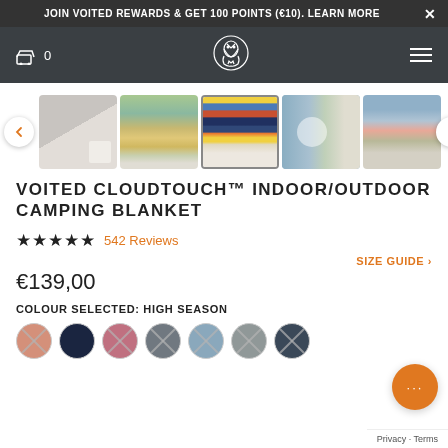JOIN VOITED REWARDS & GET 100 POINTS (€10). LEARN MORE
[Figure (screenshot): Navigation bar with cart icon showing 0, Voited owl logo in center, hamburger menu on right, dark background]
[Figure (photo): Product image carousel showing 5 blanket thumbnails with left/right navigation arrows. Thumbnails show various blanket designs: grey texture, mountain/sunset scene, colorful High Season design (active/selected), blue-grey stripes with circle, and pastel horizontal stripes.]
VOITED CLOUDTOUCH™ INDOOR/OUTDOOR CAMPING BLANKET
★★★★★ 542 Reviews
SIZE GUIDE ›
€139,00
COLOUR SELECTED: HIGH SEASON
[Figure (other): Row of 7 color swatches (circles): salmon/crossed out, navy (selected, no X), rose/crossed out, slate/crossed out, light blue/crossed out, grey/crossed out, dark navy/crossed out]